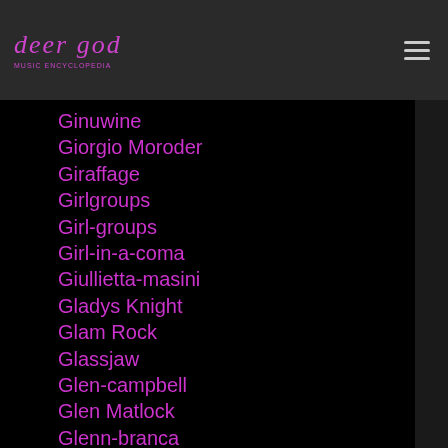deer god
Ginuwine
Giorgio Moroder
Giraffage
Girlgroups
Girl-groups
Girl-in-a-coma
Giullietta-masini
Gladys Knight
Glam Rock
Glassjaw
Glen-campbell
Glen Matlock
Glenn-branca
Glenn-danzig
Glenn Gould
Glenn-milstead
Glitterbust